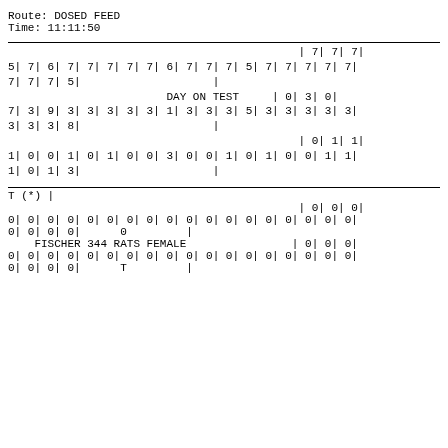Route: DOSED FEED
Time: 11:11:50
| | 7| 7| 7| |
| 5| 7| 6| 7| 7| 7| 7| 7| 6| 7| 7| 7| 5| 7| 7| 7| 7| 7| |
| 7| 7| 7| 5|                    | |
| DAY ON TEST     | 0| 3| 0| |
| 7| 3| 9| 3| 3| 3| 3| 3| 1| 3| 3| 3| 5| 3| 3| 3| 3| 3| |
| 3| 3| 3| 8|                    | |
| | 0| 1| 1| |
| 1| 0| 0| 1| 0| 1| 0| 0| 3| 0| 0| 1| 0| 1| 0| 0| 1| 1| |
| 1| 0| 1| 3|                    | |
| T (*) | |
| | 0| 0| 0| |
| 0| 0| 0| 0| 0| 0| 0| 0| 0| 0| 0| 0| 0| 0| 0| 0| 0| 0| |
| 0| 0| 0| 0|      0         | |
| FISCHER 344 RATS FEMALE                        | 0| 0| 0| |
| 0| 0| 0| 0| 0| 0| 0| 0| 0| 0| 0| 0| 0| 0| 0| 0| 0| 0| |
| 0| 0| 0| 0|      T         | |